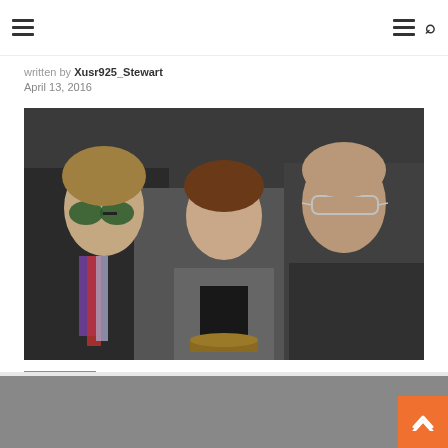Navigation header with hamburger menu and search icon
written by Xusr925_Stewart
April 13, 2016
[Figure (photo): Three men posing for a photo. The man on the left wears sunglasses and a colorful scarf, the man in the center holds a black award/trophy on a gold base, and the man on the right wears glasses.]
Bottom navigation bar with orange tab and scroll-to-top button